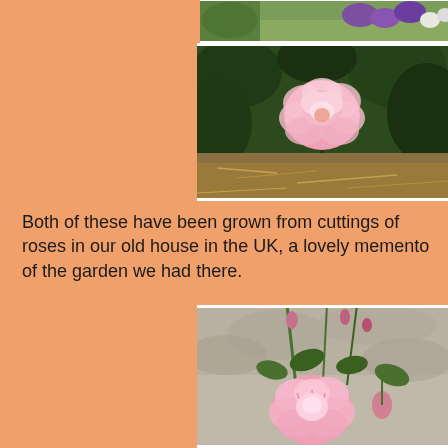[Figure (photo): Top partial photo showing colorful garden flowers including purple blooms]
[Figure (photo): Close-up photo of a fully open pink rose surrounded by dark green leaves, with mulch on the ground]
Both of these have been grown from cuttings of roses in our old house in the UK, a lovely memento of the garden we had there.
[Figure (photo): Photo of a pink striped rose in bloom with buds and green leaves, rocky background]